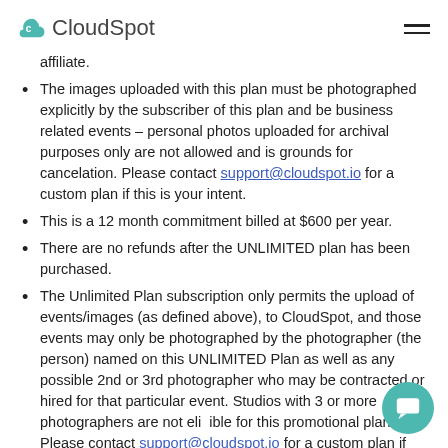CloudSpot
affiliate.
The images uploaded with this plan must be photographed explicitly by the subscriber of this plan and be business related events – personal photos uploaded for archival purposes only are not allowed and is grounds for cancelation. Please contact support@cloudspot.io for a custom plan if this is your intent.
This is a 12 month commitment billed at $600 per year.
There are no refunds after the UNLIMITED plan has been purchased.
The Unlimited Plan subscription only permits the upload of events/images (as defined above), to CloudSpot, and those events may only be photographed by the photographer (the person) named on this UNLIMITED Plan as well as any possible 2nd or 3rd photographer who may be contracted or hired for that particular event. Studios with 3 or more photographers are not eligible for this promotional plan. Please contact support@cloudspot.io for a custom plan if more than 3 photographers are found.